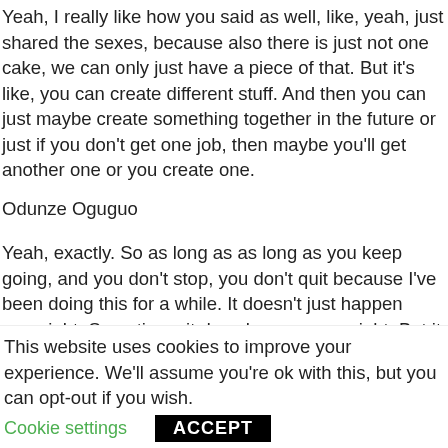Yeah, I really like how you said as well, like, yeah, just shared the sexes, because also there is just not one cake, we can only just have a piece of that. But it's like, you can create different stuff. And then you can just maybe create something together in the future or just if you don't get one job, then maybe you'll get another one or you create one.
Odunze Oguguo
Yeah, exactly. So as long as as long as you keep going, and you don't stop, you don't quit because I've been doing this for a while. It doesn't just happen overnight. Sometimes it does happen overnight. But it those are very rare cases. It doesn't just happen overnight. I've seen channels go from I know a friend who started a YouTube channel and it's not art. They started a YouTube channel in November. And all of a sudden
This website uses cookies to improve your experience. We'll assume you're ok with this, but you can opt-out if you wish.
Cookie settings   ACCEPT